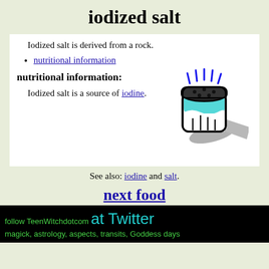iodized salt
Iodized salt is derived from a rock.
nutritional information
nutritional information:
Iodized salt is a source of iodine.
[Figure (illustration): Cartoon illustration of a salt shaker with blue dashes above it indicating shaking, casting a grey shadow to the right. The shaker has a dark cap with holes and a teal/white body.]
See also: iodine and salt.
next food
[Figure (photo): Decorative banner image showing a row of stone arches, resembling a Roman or medieval arcade with repeated arch motifs in tan/gold tones.]
follow TeenWitchdotcom at Twitter
magick, astrology, aspects, transits, Goddess days